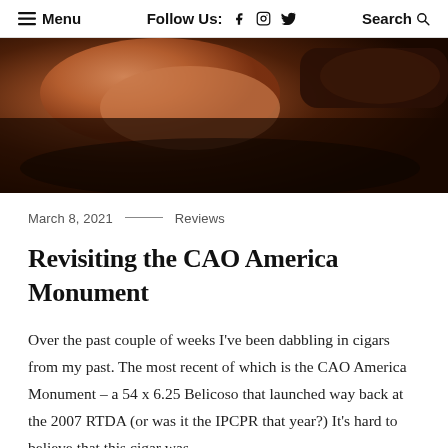≡ Menu   Follow Us: f ⊙ 𝕏   Search 🔍
[Figure (photo): Close-up photo of fingers holding a dark cigar, warm amber and brown tones, dimly lit background.]
March 8, 2021 — Reviews
Revisiting the CAO America Monument
Over the past couple of weeks I've been dabbling in cigars from my past. The most recent of which is the CAO America Monument – a 54 x 6.25 Belicoso that launched way back at the 2007 RTDA (or was it the IPCPR that year?) It's hard to believe that this cigar was